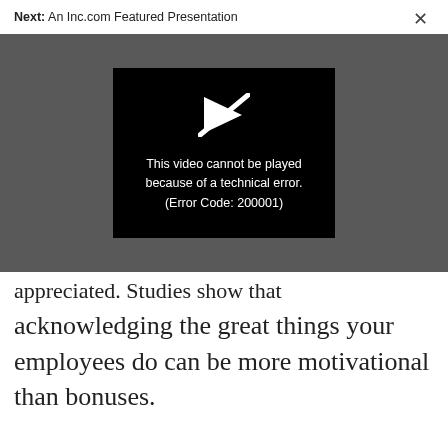Next: An Inc.com Featured Presentation
[Figure (screenshot): Video player showing error: 'This video cannot be played because of a technical error. (Error Code: 200001)' on a dark grey background with a black error box and crossed-out play icon.]
appreciated. Studies show that acknowledging the great things your employees do can be more motivational than bonuses.